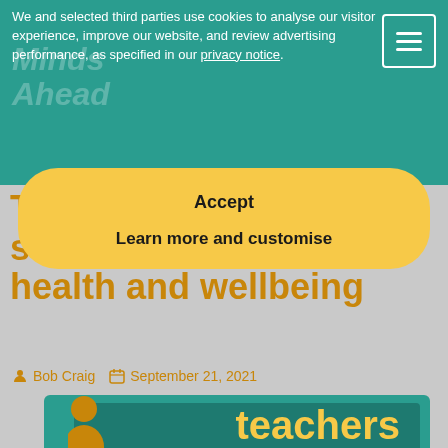We and selected third parties use cookies to analyse our visitor experience, improve our website, and review advertising performance, as specified in our privacy notice.
Accept
Learn more and customise
Top tips for teachers to support good mental health and wellbeing
Bob Craig   September 21, 2021
[Figure (photo): Teal background image showing the word 'teachers' in yellow and a silhouette of a person]